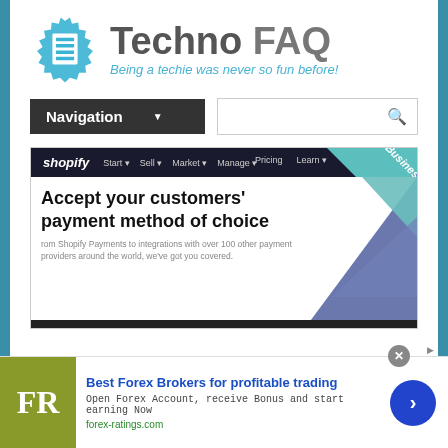[Figure (logo): Techno FAQ logo with gear icon and tagline 'Being a techie was never so fun before!']
[Figure (screenshot): Shopify website screenshot showing navigation bar and 'Accept your customers' payment method of choice' headline with diagonal colored shapes]
[Figure (other): Advertisement for 'Best Forex Brokers for profitable trading' from forex-ratings.com with FR logo, green button, and close button]